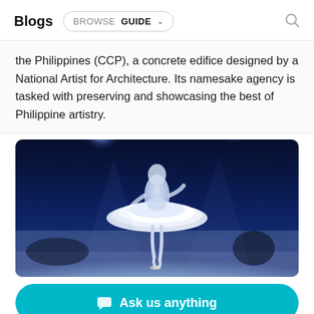Blogs  BROWSE  GUIDE
the Philippines (CCP), a concrete edifice designed by a National Artist for Architecture. Its namesake agency is tasked with preserving and showcasing the best of Philippine artistry.
[Figure (photo): A ballerina in a white tutu photographed from behind, performing on a dark stage with blue-tinted theatrical lighting and bright spotlights in the background.]
Ask us anything